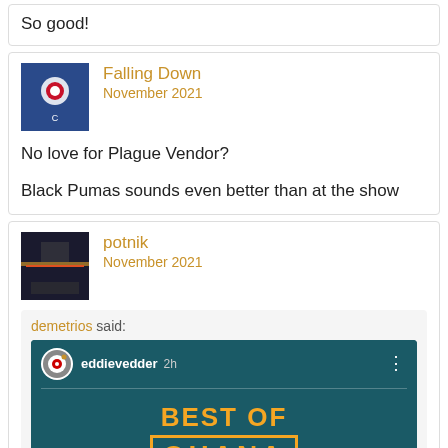So good!
Falling Down
November 2021
No love for Plague Vendor?

Black Pumas sounds even better than at the show
potnik
November 2021
[Figure (screenshot): Quoted comment block: demetrios said, with an embedded Instagram post from eddievedder (2h ago) showing 'BEST OF OHANA' text on a teal background]